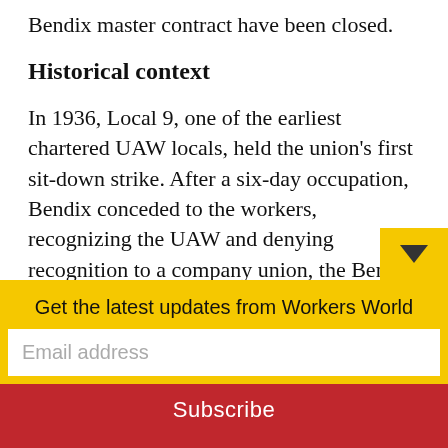Bendix master contract have been closed.
Historical context
In 1936, Local 9, one of the earliest chartered UAW locals, held the union’s first sit-down strike. After a six-day occupation, Bendix conceded to the workers, recognizing the UAW and denying recognition to a company union, the Bendix Employees Association.
This win at Bendix and a subsequent victory at Kelsey-Hayes encouraged the UAW to ta…
Get the latest updates from Workers World
Email address
Subscribe